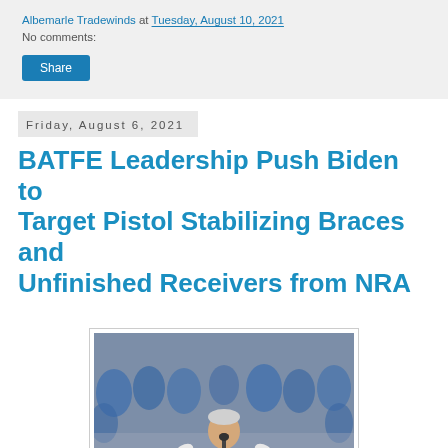Albemarle Tradewinds at Tuesday, August 10, 2021
No comments:
Share
Friday, August 6, 2021
BATFE Leadership Push Biden to Target Pistol Stabilizing Braces and Unfinished Receivers from NRA
[Figure (photo): Photo of Joe Biden speaking at a campaign rally podium with 'BIDEN PRESIDENT' sign, crowd in blue shirts behind him]